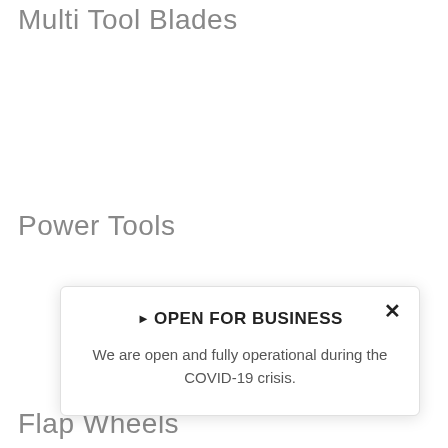Multi Tool Blades
Power Tools
[Figure (screenshot): Popup notification box with close button, header 'OPEN FOR BUSINESS', and body text about COVID-19 operational status.]
Flap Wheels